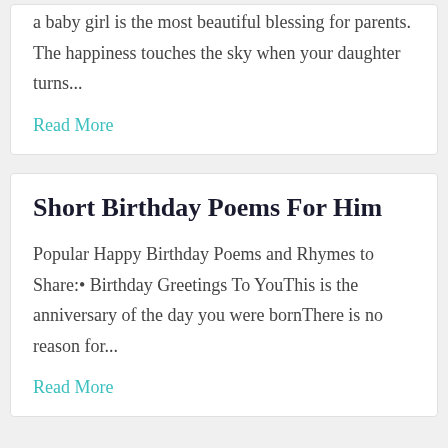a baby girl is the most beautiful blessing for parents. The happiness touches the sky when your daughter turns...
Read More
Short Birthday Poems For Him
Popular Happy Birthday Poems and Rhymes to Share:• Birthday Greetings To YouThis is the anniversary of the day you were bornThere is no reason for...
Read More